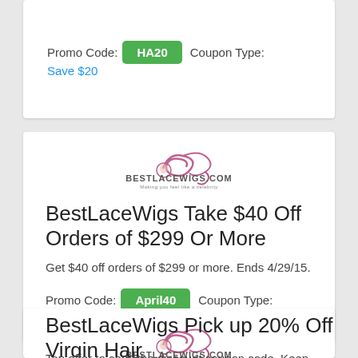Promo Code: HA20   Coupon Type: Save $20
[Figure (logo): BestLaceWigs.com logo with swirl hair design and tagline 'Making you feel like a celebrity']
BestLaceWigs Take $40 Off Orders of $299 Or More
Get $40 off orders of $299 or more. Ends 4/29/15.
Promo Code: April40   Coupon Type: Save $40
[Figure (logo): BestLaceWigs.com logo with swirl hair design and tagline 'Making you feel like a celebrity']
BestLaceWigs Pick up 20% Off Virgin Hair
Tap offer to copy the discount coupon code. Keep